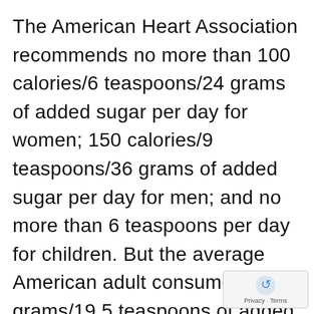The American Heart Association recommends no more than 100 calories/6 teaspoons/24 grams of added sugar per day for women; 150 calories/9 teaspoons/36 grams of added sugar per day for men; and no more than 6 teaspoons per day for children. But the average American adult consumes 82 grams/19.5 teaspoons of added sugar every single day (66 pounds of added sugar every year). Added sugar makes up 10 percent of American's daily calorie intake; one-in-ten Americans consume at least 25 percent of their daily calories from added sugar. When combined with simple sugar consumption, the average